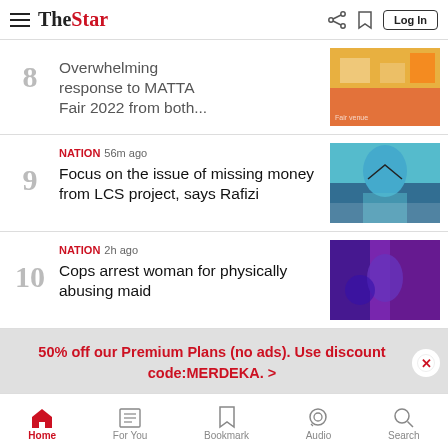The Star
8 Overwhelming response to MATTA Fair 2022 from both...
9 NATION 56m ago Focus on the issue of missing money from LCS project, says Rafizi
10 NATION 2h ago Cops arrest woman for physically abusing maid
50% off our Premium Plans (no ads). Use discount code:MERDEKA. >
Home | For You | Bookmark | Audio | Search